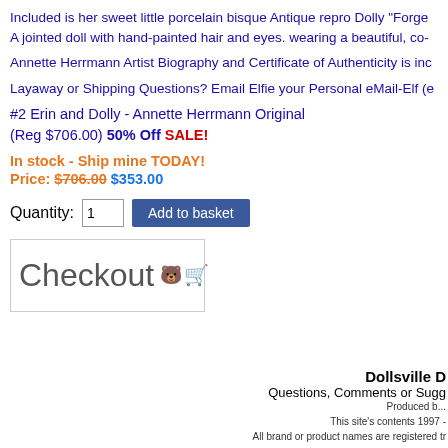Included is her sweet little porcelain bisque Antique repro Dolly "Forge... A jointed doll with hand-painted hair and eyes. wearing a beautiful, co-...
Annette Herrmann Artist Biography and Certificate of Authenticity is inc...
Layaway or Shipping Questions? Email Elfie your Personal eMail-Elf (e...
#2 Erin and Dolly - Annette Herrmann Original
(Reg $706.00) 50% Off SALE!
In stock - Ship mine TODAY!
Price: $706.00 $353.00
Quantity: 1  Add to basket
[Figure (other): Checkout button with shopping cart and bear icon]
Dollsville D...
Questions, Comments or Sugg...
Produced b...
This site's contents 1997 -...
All brand or product names are registered tr...